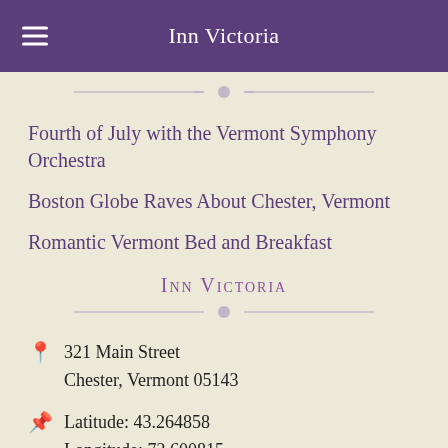Inn Victoria
Fourth of July with the Vermont Symphony Orchestra
Boston Globe Raves About Chester, Vermont
Romantic Vermont Bed and Breakfast
Inn Victoria
321 Main Street
Chester, Vermont 05143
Latitude: 43.264858
Longitude: 72.600815